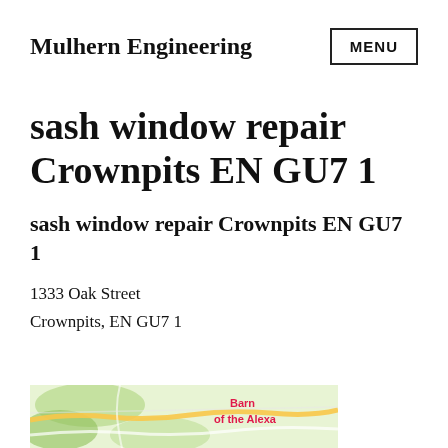Mulhern Engineering
sash window repair Crownpits EN GU7 1
sash window repair Crownpits EN GU7 1
1333 Oak Street
Crownpits, EN GU7 1
[Figure (map): Street map showing area around Crownpits EN GU7 1 with partial text 'Barn of the Alexa' visible in red on the right side of the map]